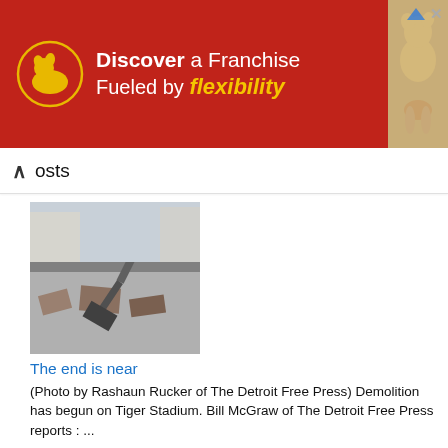[Figure (photo): Advertisement banner: Dog Haus franchise ad. Left red panel with logo and text 'Discover a Franchise Fueled by Flexibility'. Right panel with photos of a dog and kennel.]
osts
[Figure (photo): Construction/demolition photo showing excavator machinery at Tiger Stadium demolition site.]
The end is near
(Photo by Rashaun Rucker of The Detroit Free Press) Demolition has begun on Tiger Stadium. Bill McGraw of The Detroit Free Press reports : ...
[Figure (photo): Photo of a man and child sitting inside a vintage orange BMW Isetta 300 car.]
Settling into an Isetta 300
My friend Duane Gillis spotted a BMW Isetta 300 hiding out at the Sloan Auto Fair among all the American muscle cars and chrome-laden G...
[Figure (photo): Partial image of a Reincheck sign at bottom of page.]